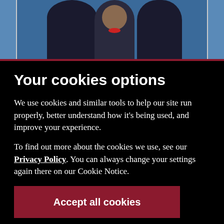[Figure (photo): Partial photo of people in formal attire against a blue background, cropped at the top of the page]
Your cookies options
We use cookies and similar tools to help our site run properly, better understand how it’s being used, and improve your experience.
To find out more about the cookies we use, see our Privacy Policy. You can always change your settings again there on our Cookie Notice.
Manage Cookies ▼
Accept all cookies